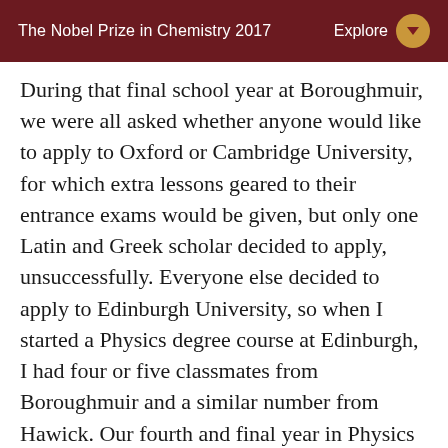The Nobel Prize in Chemistry 2017    Explore
During that final school year at Boroughmuir, we were all asked whether anyone would like to apply to Oxford or Cambridge University, for which extra lessons geared to their entrance exams would be given, but only one Latin and Greek scholar decided to apply, unsuccessfully. Everyone else decided to apply to Edinburgh University, so when I started a Physics degree course at Edinburgh, I had four or five classmates from Boroughmuir and a similar number from Hawick. Our fourth and final year in Physics at Edinburgh University had a class of 45, including 4 others from Boroughmuir and one other from Hawick. Our final year Physics class photo is shown in Figure 3. The large representation from Boroughmuir arose from the enthusiastic teaching of our Boroughmuir physics teacher Bill Cow, or “Bilko”. Bill once played a recording to the 6th form